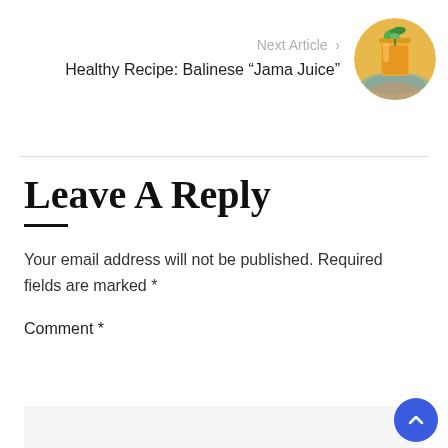Next Article ›
Healthy Recipe: Balinese “Jama Juice”
[Figure (photo): Circular thumbnail photo of an orange juice drink with mint garnish in a glass jar on a decorative plate]
Leave A Reply
Your email address will not be published. Required fields are marked *
Comment *